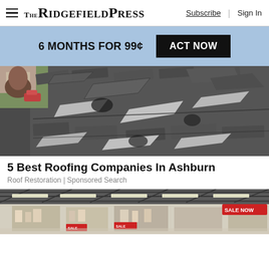THE RIDGEFIELD PRESS — Subscribe | Sign In
6 MONTHS FOR 99¢  ACT NOW
[Figure (photo): Damaged roof with broken and lifting shingles, some peeling back, with a residential area visible in the top-left corner]
5 Best Roofing Companies In Ashburn
Roof Restoration | Sponsored Search
[Figure (photo): Interior of a large retail store showing a warehouse-style ceiling with fluorescent lighting, display aisles, and a red Sale Now banner visible in the upper right]